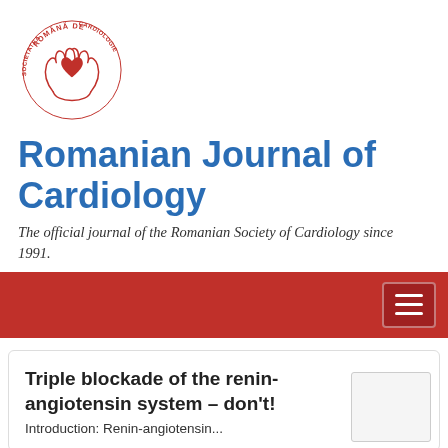[Figure (logo): Romanian Society of Cardiology logo — circular red text 'SOCIETATEA ROMÂNĂ DE CARDIOLOGIE' around two hands holding a red heart]
Romanian Journal of Cardiology
The official journal of the Romanian Society of Cardiology since 1991.
[Figure (other): Red navigation bar with hamburger menu button on the right]
Triple blockade of the renin-angiotensin system – don't!
Introduction: Renin-angiotensin...